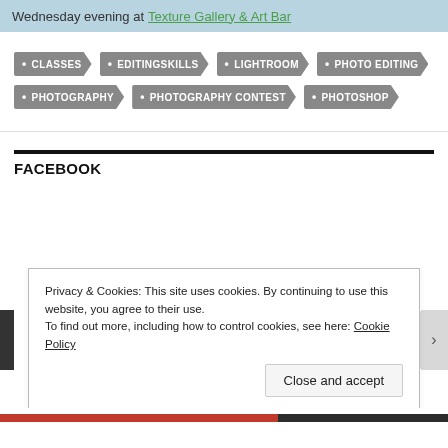Wednesday evening at Texture Gallery & Art Bar
CLASSES
EDITINGSKILLS
LIGHTROOM
PHOTO EDITING
PHOTOGRAPHY
PHOTOGRAPHY CONTEST
PHOTOSHOP
FACEBOOK
Privacy & Cookies: This site uses cookies. By continuing to use this website, you agree to their use.
To find out more, including how to control cookies, see here: Cookie Policy
Close and accept